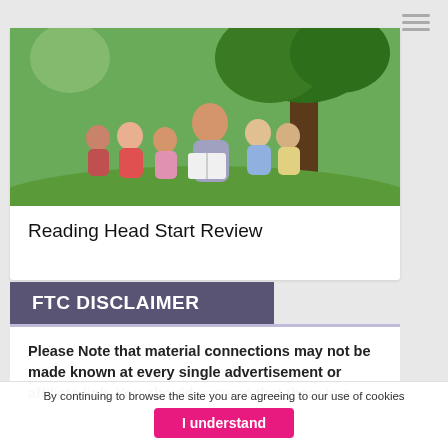[Figure (photo): Teacher or adult woman sitting with a group of children outdoors under a tree, reading or teaching]
Reading Head Start Review
FTC DISCLAIMER
Please Note that material connections may not be made known at every single advertisement or affiliate link. You should assume that there is a
By continuing to browse the site you are agreeing to our use of cookies
I understand